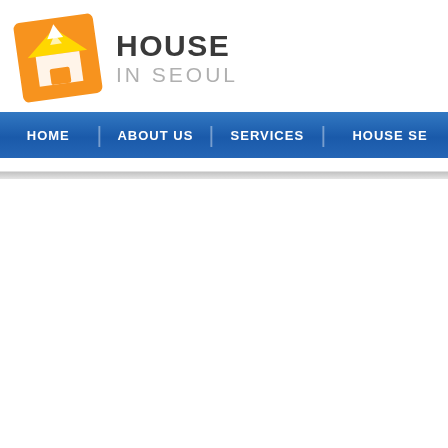[Figure (logo): House in Seoul logo: orange square with white house icon, text HOUSE IN SEOUL]
HOME | ABOUT US | SERVICES | HOUSE SE...